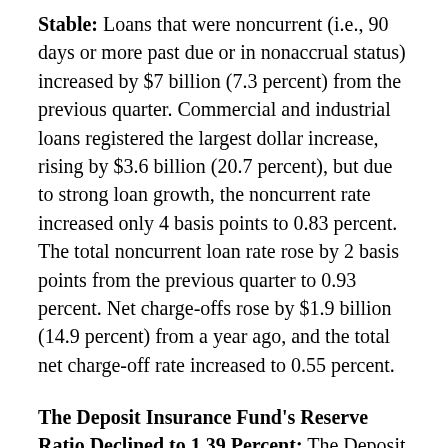Stable: Loans that were noncurrent (i.e., 90 days or more past due or in nonaccrual status) increased by $7 billion (7.3 percent) from the previous quarter. Commercial and industrial loans registered the largest dollar increase, rising by $3.6 billion (20.7 percent), but due to strong loan growth, the noncurrent rate increased only 4 basis points to 0.83 percent. The total noncurrent loan rate rose by 2 basis points from the previous quarter to 0.93 percent. Net charge-offs rose by $1.9 billion (14.9 percent) from a year ago, and the total net charge-off rate increased to 0.55 percent.
The Deposit Insurance Fund's Reserve Ratio Declined to 1.39 Percent: The Deposit Insurance Fund (DIF) balance totaled $113.2 billion in the first quarter, an increase of $2.0 billion from the previous